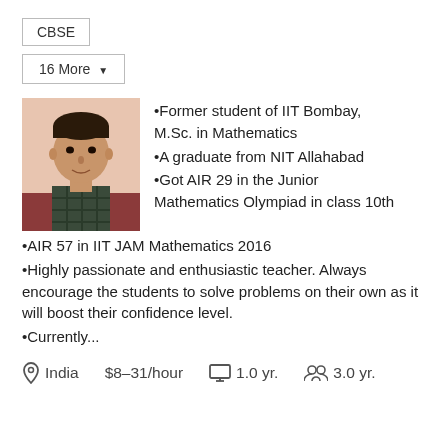CBSE
16 More ▼
[Figure (photo): Profile photo of a young male tutor wearing a plaid shirt, seated indoors]
•Former student of IIT Bombay, M.Sc. in Mathematics
•A graduate from NIT Allahabad
•Got AIR 29 in the Junior Mathematics Olympiad in class 10th
•AIR 57 in IIT JAM Mathematics 2016
•Highly passionate and enthusiastic teacher. Always encourage the students to solve problems on their own as it will boost their confidence level.
•Currently...
India   $8–31/hour   1.0 yr.   3.0 yr.